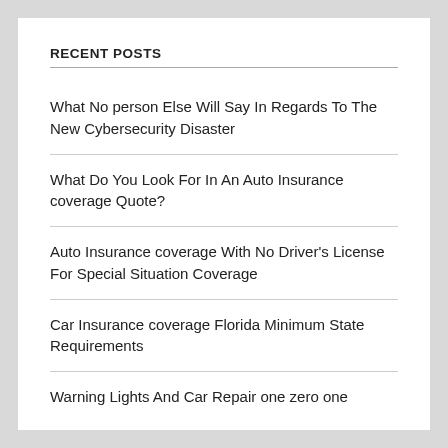RECENT POSTS
What No person Else Will Say In Regards To The New Cybersecurity Disaster
What Do You Look For In An Auto Insurance coverage Quote?
Auto Insurance coverage With No Driver's License For Special Situation Coverage
Car Insurance coverage Florida Minimum State Requirements
Warning Lights And Car Repair one zero one